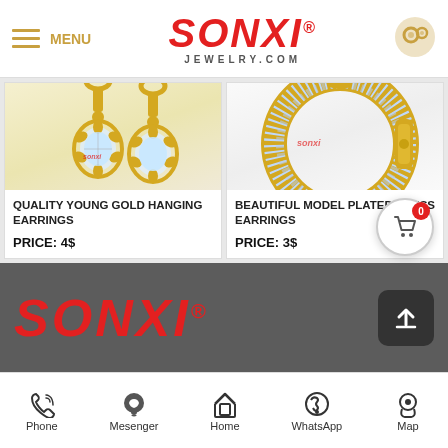MENU | SONXI® JEWELRY.COM
[Figure (photo): Gold hanging earrings with large oval diamond cluster pendants on yellow gold hooks, product photo on cream background with SONXI watermark]
QUALITY YOUNG GOLD HANGING EARRINGS
PRICE: 4$
[Figure (photo): Gold hoop press earrings fully covered with small diamonds in multiple rows, yellow gold huggie style, product photo on white background with SONXI watermark]
BEAUTIFUL MODEL PLATED PRESS EARRINGS
PRICE: 3$
[Figure (logo): SONXI® logo in red italic letters on dark grey footer background]
Phone | Mesenger | Home | WhatsApp | Map